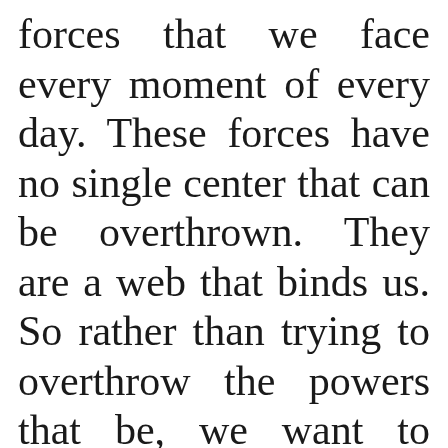forces that we face every moment of every day. These forces have no single center that can be overthrown. They are a web that binds us. So rather than trying to overthrow the powers that be, we want to undermine domination as we confront it every day, helping th